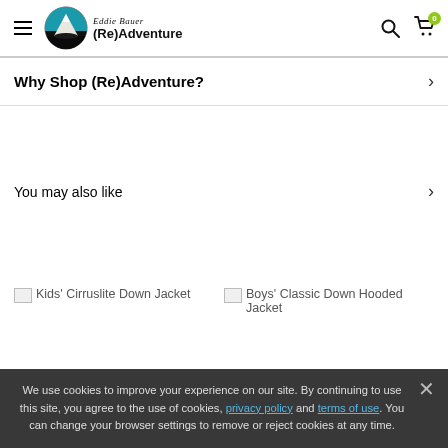Eddie Bauer (Re)Adventure — navigation header with hamburger menu, logo, search, and cart
Why Shop (Re)Adventure?
You may also like
Kids' Cirruslite Down Jacket
Boys' Classic Down Hooded Jacket
We use cookies to improve your experience on our site. By continuing to use this site, you agree to the use of cookies, privacy policy and terms of use. You can change your browser settings to remove or reject cookies at any time.